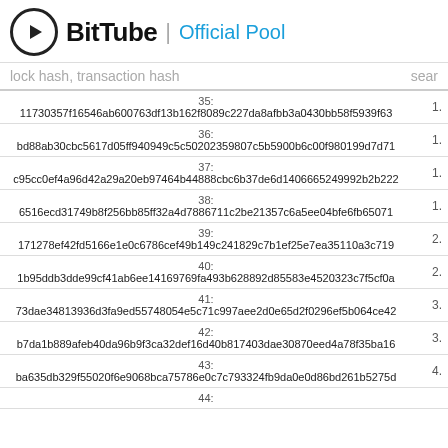BitTube | Official Pool
lock hash, transaction hash   sear
| # | Hash | Value |
| --- | --- | --- |
| 35: | 11730357f16546ab600763df13b162f8089c227da8afbb3a0430bb58f5939f63 | 1. |
| 36: | bd88ab30cbc5617d05ff940949c5c50202359807c5b5900b6c00f980199d7d71 | 1. |
| 37: | c95cc0ef4a96d42a29a20eb97464b44888cbc6b37de6d1406665249992b2b222 | 1. |
| 38: | 6516ecd31749b8f256bb85ff32a4d7886711c2be21357c6a5ee04bfe6fb65071 | 1. |
| 39: | 171278ef42fd5166e1e0c6786cef49b149c241829c7b1ef25e7ea35110a3c719 | 2. |
| 40: | 1b95ddb3dde99cf41ab6ee14169769fa493b628892d85583e4520323c7f5cf0a | 2. |
| 41: | 73dae34813936d3fa9ed55748054e5c71c997aee2d0e65d2f0296ef5b064ce42 | 3. |
| 42: | b7da1b889afeb40da96b9f3ca32def16d40b817403dae30870eed4a78f35ba16 | 3. |
| 43: | ba635db329f55020f6e9068bca75786e0c7c793324fb9da0e0d86bd261b5275d | 4. |
| 44: |  |  |